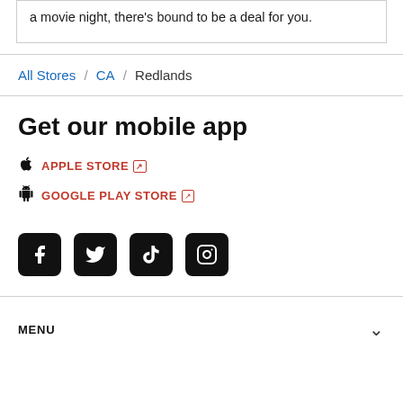a movie night, there's bound to be a deal for you.
All Stores / CA / Redlands
Get our mobile app
APPLE STORE
GOOGLE PLAY STORE
[Figure (other): Social media icons: Facebook, Twitter, TikTok, Instagram]
MENU